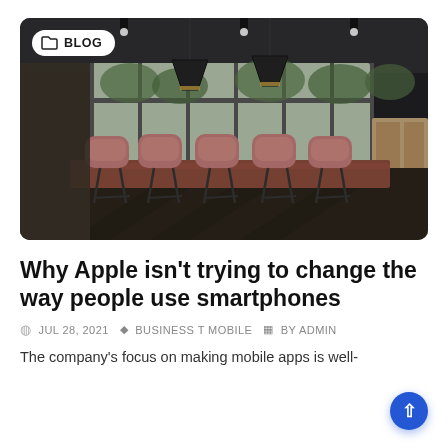[Figure (photo): Interior photo of a modern dark conference room with pink/mauve chairs around a long table, large windows showing greenery outside, pendant lights hanging from the ceiling. A 'BLOG' badge overlay appears in the top-left corner.]
Why Apple isn't trying to change the way people use smartphones
JUL 28, 2021  BUSINESS T MOBILE  BY ADMIN
The company's focus on making mobile apps is well-